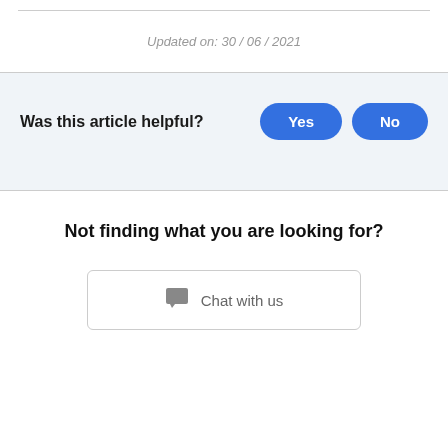Updated on: 30 / 06 / 2021
Was this article helpful?
Not finding what you are looking for?
Chat with us